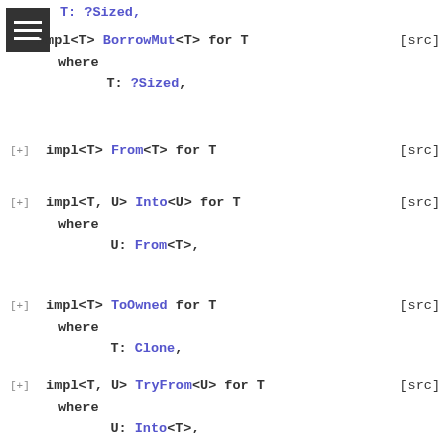T: ?Sized, (truncated top, partial impl BorrowMut<T> for T)
[+] impl<T> BorrowMut<T> for T [src]
    where
        T: ?Sized,
[+] impl<T> From<T> for T [src]
[+] impl<T, U> Into<U> for T [src]
    where
        U: From<T>,
[+] impl<T> ToOwned for T [src]
    where
        T: Clone,
[+] impl<T, U> TryFrom<U> for T [src]
    where
        U: Into<T>,
[+] impl<T, U> TryInto<U> for T [src]
    where
        U: TryFrom<T>,